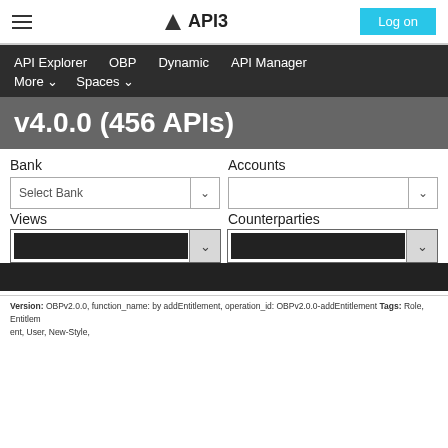API3 — Log on
API Explorer  OBP  Dynamic  API Manager  More ∨  Spaces ∨
v4.0.0 (456 APIs)
Bank
Accounts
Select Bank
Views
Counterparties
Version: OBPv2.0.0, function_name: by addEntitlement, operation_id: OBPv2.0.0-addEntitlement Tags: Role, Entitlement, User, New-Style,